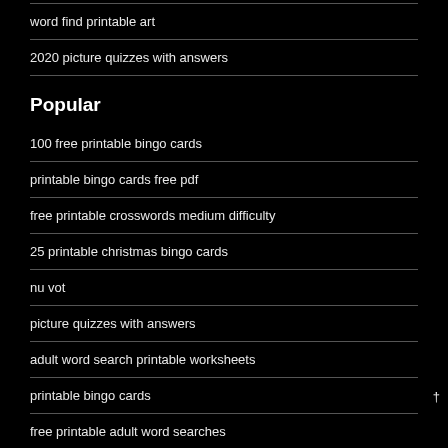word find printable art
2020 picture quizzes with answers
Popular
100 free printable bingo cards
printable bingo cards free pdf
free printable crosswords medium difficulty
25 printable christmas bingo cards
nu vot
picture quizzes with answers
adult word search printable worksheets
printable bingo cards
free printable adult word searches